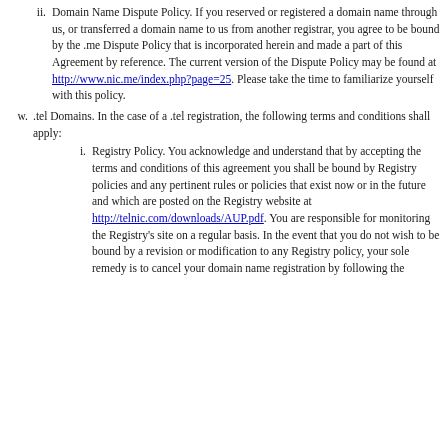ii. Domain Name Dispute Policy. If you reserved or registered a domain name through us, or transferred a domain name to us from another registrar, you agree to be bound by the .me Dispute Policy that is incorporated herein and made a part of this Agreement by reference. The current version of the Dispute Policy may be found at http://www.nic.me/index.php?page=25. Please take the time to familiarize yourself with this policy.
w. .tel Domains. In the case of a .tel registration, the following terms and conditions shall apply:
i. Registry Policy. You acknowledge and understand that by accepting the terms and conditions of this agreement you shall be bound by Registry policies and any pertinent rules or policies that exist now or in the future and which are posted on the Registry website at http://telnic.com/downloads/AUP.pdf. You are responsible for monitoring the Registry's site on a regular basis. In the event that you do not wish to be bound by a revision or modification to any Registry policy, your sole remedy is to cancel your domain name registration by following the appropriate Registrar discontinuance procedures.